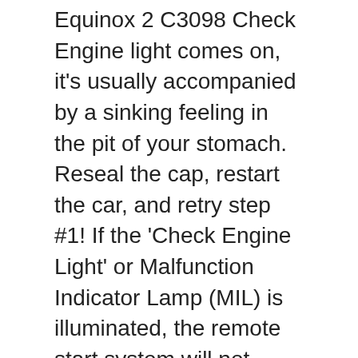Equinox 2 C3098 Check Engine light comes on, it's usually accompanied by a sinking feeling in the pit of your stomach. Reseal the cap, restart the car, and retry step #1! If the 'Check Engine Light' or Malfunction Indicator Lamp (MIL) is illuminated, the remote start system will not work. Also please check out the statistics and reliability analysis of Chevrolet Equinox based on all problems reported for the Equinox. In this case, if you don't know how to reset check engine light, here are 4 useful way for you. Picking the car up today, so don't know if that will be a permanent fix or not. Advertisement . Not every test can be completed in every drive-cycle. Drivers would see “Engine Power